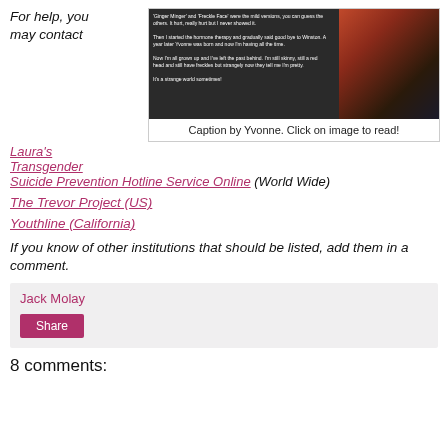For help, you may contact
[Figure (screenshot): Screenshot of a blog post with text overlay and a photo of a red-haired woman in dark clothing]
Caption by Yvonne. Click on image to read!
Laura's Transgender Suicide Prevention Hotline Service Online (World Wide)
The Trevor Project (US)
Youthline (California)
If you know of other institutions that should be listed, add them in a comment.
Jack Molay
Share
8 comments: